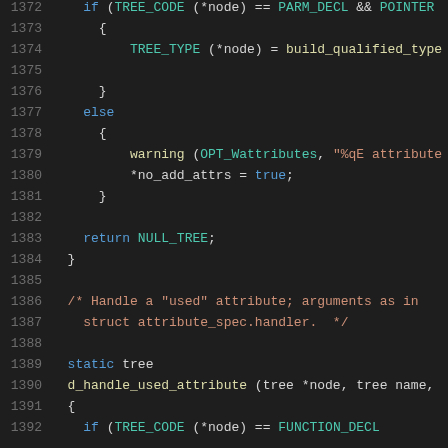[Figure (screenshot): Source code listing lines 1372-1392 of a C program showing functions handling attributes, including if/else blocks, warning calls, return statement, and a static function declaration d_handle_used_attribute.]